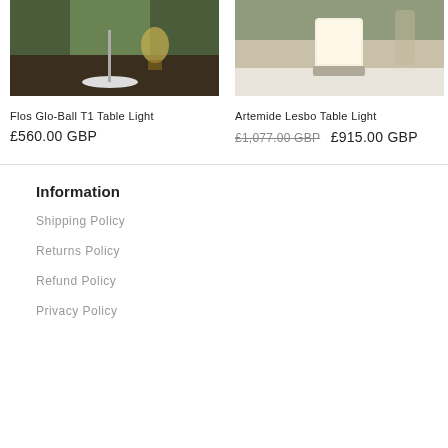[Figure (photo): Flos Glo-Ball T1 Table Light product photo showing a lamp on a wooden surface near a window with green surroundings]
[Figure (photo): Artemide Lesbo Table Light product photo showing a glowing cylindrical lamp on a white table outdoors]
Flos Glo-Ball T1 Table Light
£560.00 GBP
Artemide Lesbo Table Light
£1,077.00 GBP  £915.00 GBP
Information
Shipping Policy
Returns Policy
Refund Policy
Privacy Policy